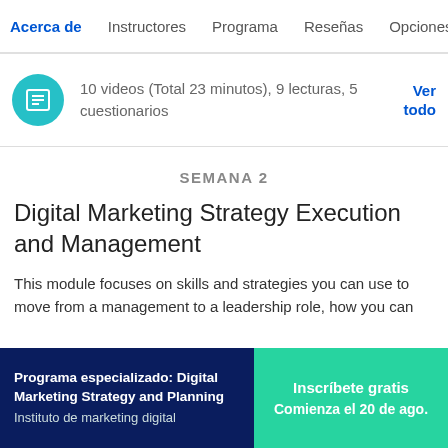Acerca de  Instructores  Programa  Reseñas  Opciones
10 videos (Total 23 minutos), 9 lecturas, 5 cuestionarios
Ver todo
SEMANA 2
Digital Marketing Strategy Execution and Management
This module focuses on skills and strategies you can use to move from a management to a leadership role, how you can
Programa especializado: Digital Marketing Strategy and Planning
Instituto de marketing digital
Inscríbete gratis
Comienza el 20 de ago.